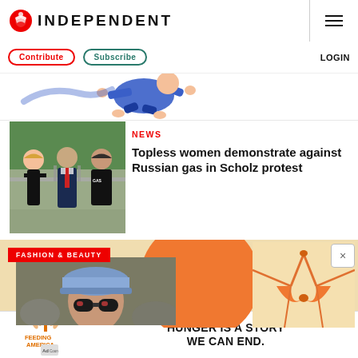INDEPENDENT
Contribute  Subscribe  LOGIN
[Figure (illustration): Cartoon illustration of a person in blue suit running or leaping, partial view]
NEWS
[Figure (photo): Topless female protesters demonstrating near a man in a suit, outdoors near a railing with trees in background]
Topless women demonstrate against Russian gas in Scholz protest
FASHION & BEAUTY
[Figure (photo): Fashion section collage: person wearing a cap with sunglasses on left, orange halter bikini top on right, orange circle background element]
[Figure (advertisement): Feeding America Ad Council advertisement: HUNGER IS A STORY WE CAN END.]